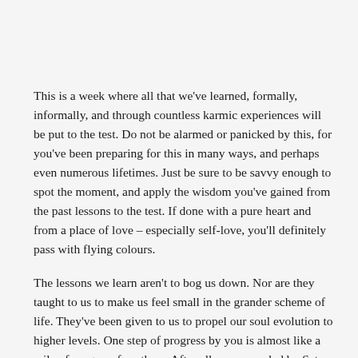This is a week where all that we've learned, formally, informally, and through countless karmic experiences will be put to the test. Do not be alarmed or panicked by this, for you've been preparing for this in many ways, and perhaps even numerous lifetimes. Just be sure to be savvy enough to spot the moment, and apply the wisdom you've gained from the past lessons to the test. If done with a pure heart and from a place of love – especially self-love, you'll definitely pass with flying colours.
The lessons we learn aren't to bog us down. Nor are they taught to us to make us feel small in the grander scheme of life. They've been given to us to propel our soul evolution to higher levels. One step of progress by you is almost like a mile of progress for others. After all, you are ruled by Saturn himself – lord of karmic lessons and wisdom gained from